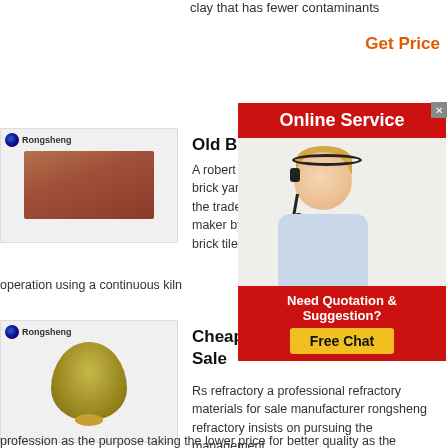clay that has fewer contaminants
Get Price
[Figure (photo): Rongsheng branded red/brown clay brick on light grey background]
Old Bricks En...
A robert octavius b... brick yard with a si... the trade directories... maker by 1894 the ... brick tile co founded
operation using a continuous kiln
[Figure (infographic): Online Service popup with blonde female customer service agent wearing headset, red background, 'Online Service' header, 'Need Quotation & Suggestion?' text, and 'Free Chat' yellow button]
[Figure (photo): Rongsheng branded pile of yellowish-green refractory powder granules in a conical heap on light grey background]
Cheap Refrac... Sale
Rs refractory a professional refractory materials for sale manufacturer rongsheng refractory insists on pursuing the management idea of honest courtesy innovation and profession as the purpose taking the lower price for better quality as the foundation of enterprise development to provide customers with all types of refractory materials like high